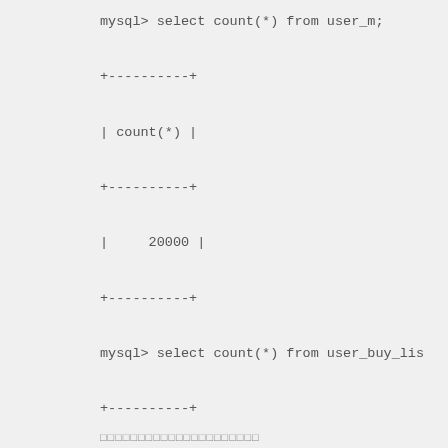mysql> select count(*) from user_m;

+-----------+

| count(*) |

+-----------+

|     20000 |

+-----------+

mysql> select count(*) from user_buy_lis

+-----------+

| count(*) |

+-----------+

|     59770 |

+-----------+
□□□□□□□□□□□□□□□□□□□□□